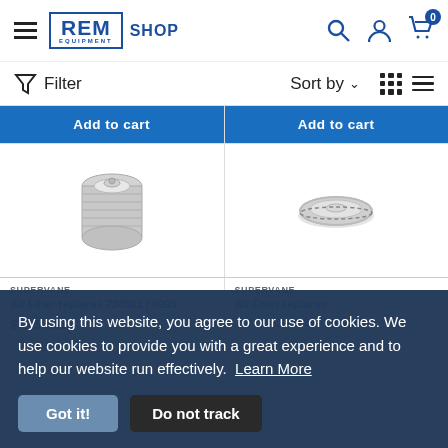REM Equipment SHOP — navigation header with search, account, and cart icons
Filter | Sort by | grid/list view toggle
[Figure (photo): Add to cart button (blue) for left product]
[Figure (photo): Add to cart button (blue) for right product]
[Figure (photo): Product image: cylindrical silver air filter component (left)]
[Figure (photo): Product image: flat circular silver air filter component (right)]
SUPERVANE Air Filter replaces 730501 | 9095...
$7.45 USD
SUPERVANE Air Filter replaces ... 5 | 0932000034 | 730542 |
By using this website, you agree to our use of cookies. We use cookies to provide you with a great experience and to help our website run effectively. Learn More
Got it!
Do not track